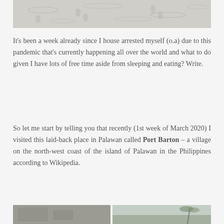[Figure (photo): Top portion of a photo showing sandy beach with footprints in white/grey sand]
It's been a week already since I house arrested myself (o.a) due to this pandemic that's currently happening all over the world and what to do given I have lots of free time aside from sleeping and eating? Write.
So let me start by telling you that recently (1st week of March 2020) I visited this laid-back place in Palawan called Port Barton – a village on the north-west coast of the island of Palawan in the Philippines according to Wikipedia.
[Figure (photo): Bottom left partial photo, dark tones, outdoor scene]
[Figure (photo): Bottom right partial photo showing palm trees against sky]